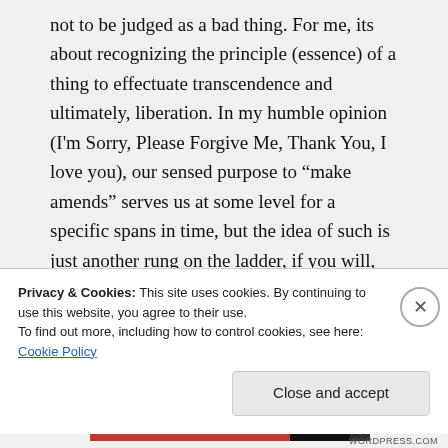not to be judged as a bad thing. For me, its about recognizing the principle (essence) of a thing to effectuate transcendence and ultimately, liberation. In my humble opinion (I'm Sorry, Please Forgive Me, Thank You, I love you), our sensed purpose to “make amends” serves us at some level for a specific spans in time, but the idea of such is just another rung on the ladder, if you will, and to stay there would reveal yet another limitation, and ultimately a
Privacy & Cookies: This site uses cookies. By continuing to use this website, you agree to their use.
To find out more, including how to control cookies, see here: Cookie Policy
Close and accept